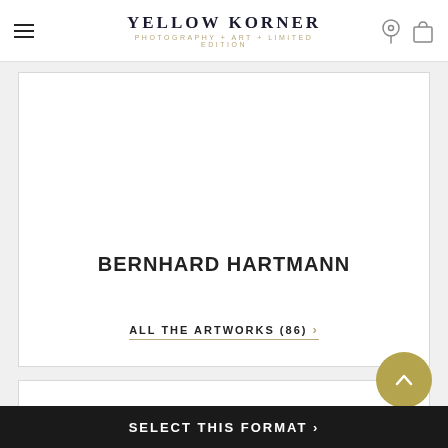YELLOW KORNER — PHOTOGRAPHY + ART + LIMITED EDITION
BERNHARD HARTMANN
ALL THE ARTWORKS (86) >
[Figure (screenshot): Second content card area, partially visible]
SELECT THIS FORMAT >